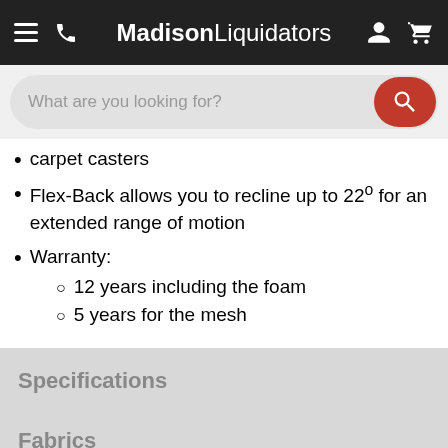MadisonLiquidators
carpet casters
Flex-Back allows you to recline up to 22º for an extended range of motion
Warranty:
12 years including the foam
5 years for the mesh
Specifications
Fabrics
Shipping